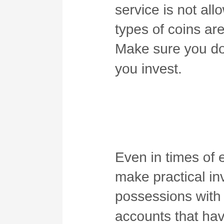service is not allowable. Likewise, just certain types of coins are authorized holdings in IRAs. Make sure you do your research study prior to you invest.
Even in times of economic difficulties, you can make practical investments in concrete possessions with gold Individual retirement accounts that have the possible to build wealth for your retirement (Gold Is The Worst Investment In History). Gold is typically touted as a potential hedge of sorts to stock exchange downturns, as the cost of gold normally increases during these